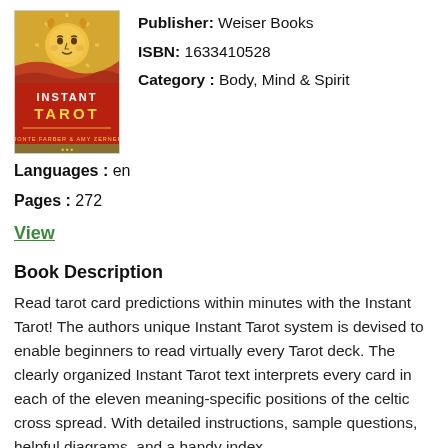[Figure (illustration): Book cover of Instant Tarot showing a sun face illustration at top and red banner with 'INSTANT TAROT' text in yellow/white letters, with author names at bottom]
Publisher: Weiser Books
ISBN: 1633410528
Category : Body, Mind & Spirit
Languages : en
Pages : 272
View
Book Description
Read tarot card predictions within minutes with the Instant Tarot! The authors unique Instant Tarot system is devised to enable beginners to read virtually every Tarot deck. The clearly organized Instant Tarot text interprets every card in each of the eleven meaning-specific positions of the celtic cross spread. With detailed instructions, sample questions, helpful diagrams, and a handy index,